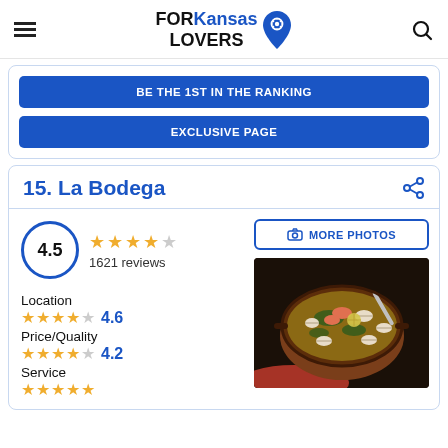FOR Kansas LOVERS
BE THE 1ST IN THE RANKING
EXCLUSIVE PAGE
15. La Bodega
4.5 — 1621 reviews
Location 4.6
Price/Quality 4.2
Service
[Figure (photo): Overhead view of a seafood paella dish with shrimp and clams in a pan on a dark surface with red cloth]